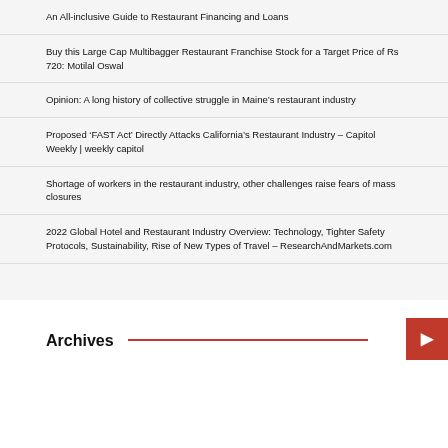An All-inclusive Guide to Restaurant Financing and Loans
Buy this Large Cap Multibagger Restaurant Franchise Stock for a Target Price of Rs 720: Motilal Oswal
Opinion: A long history of collective struggle in Maine’s restaurant industry
Proposed ‘FAST Act’ Directly Attacks California’s Restaurant Industry – Capitol Weekly | weekly capitol
Shortage of workers in the restaurant industry, other challenges raise fears of mass closures
2022 Global Hotel and Restaurant Industry Overview: Technology, Tighter Safety Protocols, Sustainability, Rise of New Types of Travel – ResearchAndMarkets.com
Archives